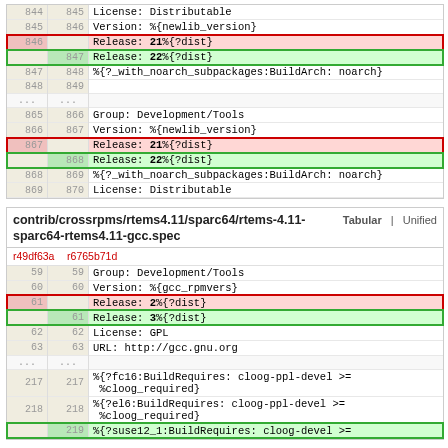| old_ln | new_ln | code |
| --- | --- | --- |
| 844 | 845 | License:        Distributable |
| 845 | 846 | Version:        %{newlib_version} |
| 846 |  | Release:        21%{?dist} |
|  | 847 | Release:        22%{?dist} |
| 847 | 848 | %{?_with_noarch_subpackages:BuildArch: noarch} |
| 848 | 849 |  |
| ... | ... |  |
| 865 | 866 | Group:          Development/Tools |
| 866 | 867 | Version:        %{newlib_version} |
| 867 |  | Release:        21%{?dist} |
|  | 868 | Release:        22%{?dist} |
| 868 | 869 | %{?_with_noarch_subpackages:BuildArch: noarch} |
| 869 | 870 | License:        Distributable |
contrib/crossrpms/rtems4.11/sparc64/rtems-4.11-sparc64-rtems4.11-gcc.spec
| old_ln | new_ln | code |
| --- | --- | --- |
| r49df63a | r6765b71d |  |
| 59 | 59 | Group:          Development/Tools |
| 60 | 60 | Version:        %{gcc_rpmvers} |
| 61 |  | Release:        2%{?dist} |
|  | 61 | Release:        3%{?dist} |
| 62 | 62 | License:        GPL |
| 63 | 63 | URL:            http://gcc.gnu.org |
| ... | ... |  |
| 217 | 217 | %{?fc16:BuildRequires: cloog-ppl-devel >= %cloog_required} |
| 218 | 218 | %{?el6:BuildRequires: cloog-ppl-devel >= %cloog_required} |
|  | 219 | %{?suse12_1:BuildRequires: cloog-devel >= |